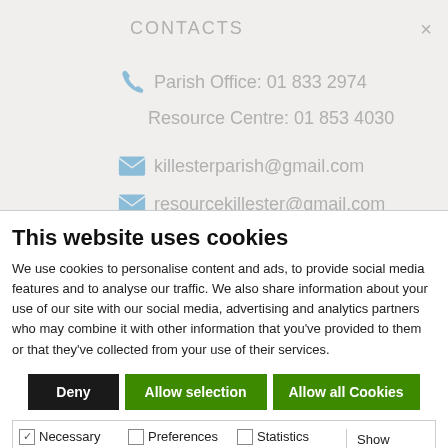CONTACTS
Parish Office: 01 833 2974
Resource Centre: 01 853 4030
killesterparish@gmail.com
resourcekillester@gmail.com
This website uses cookies
We use cookies to personalise content and ads, to provide social media features and to analyse our traffic. We also share information about your use of our site with our social media, advertising and analytics partners who may combine it with other information that you’ve provided to them or that they’ve collected from your use of their services.
Deny | Allow selection | Allow all Cookies
Necessary (checked), Preferences (unchecked), Statistics (unchecked), Marketing (unchecked), Show details